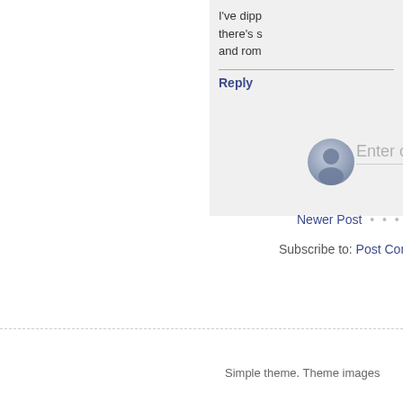I've dipp there's s and rom
Reply
[Figure (illustration): Default user avatar circle icon, grey gradient with person silhouette]
Enter comm
Newer Post • • •
Subscribe to: Post Comme
Simple theme. Theme images